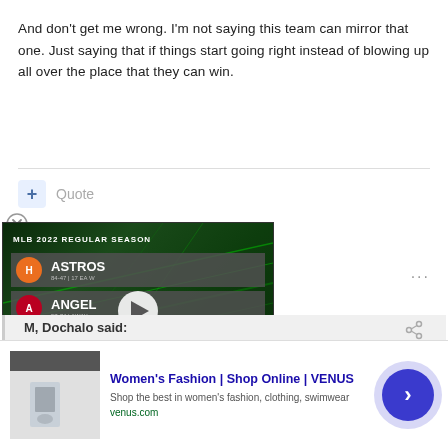And don't get me wrong. I'm not saying this team can mirror that one. Just saying that if things start going right instead of blowing up all over the place that they can win.
[Figure (screenshot): MLB 2022 Regular Season matchup graphic showing Astros vs Angels, with play button overlay. Stadium: Angel Stadium of Anaheim, Date: September 02, 2022]
M, Dochalo said:
[Figure (infographic): Advertisement: Women's Fashion | Shop Online | VENUS. Shop the best in women's fashion, clothing, swimwear. venus.com]